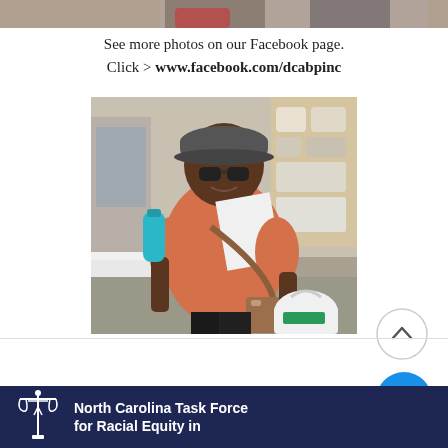[Figure (photo): Top portion of a photo strip showing people at an event, cropped at the top of the page]
See more photos on our Facebook page.
Click > www.facebook.com/dcabpinc
[Figure (photo): A woman smiling, wearing a gray cap and sunglasses, salmon/orange polo shirt, holding a teal water bottle and a white tote bag, with a brown crossbody bag, at an indoor market or event]
North Carolina Task Force for Racial Equity in